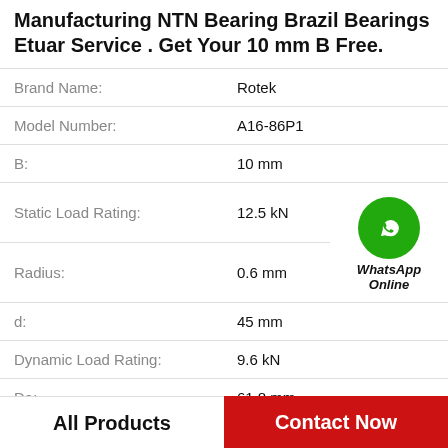Manufacturing NTN Bearing Brazil Bearings Etuar Service . Get Your 10 mm B Free.
| Property | Value |
| --- | --- |
| Brand Name: | Rotek |
| Model Number: | A16-86P1 |
| B: | 10 mm |
| Static Load Rating: | 12.5 kN |
| Radius: | 0.6 mm |
| d: | 45 mm |
| Dynamic Load Rating: | 9.6 kN |
| Da: | 61.8 mm |
[Figure (logo): WhatsApp Online green circle badge with phone icon and label 'WhatsApp Online']
All Products   Contact Now